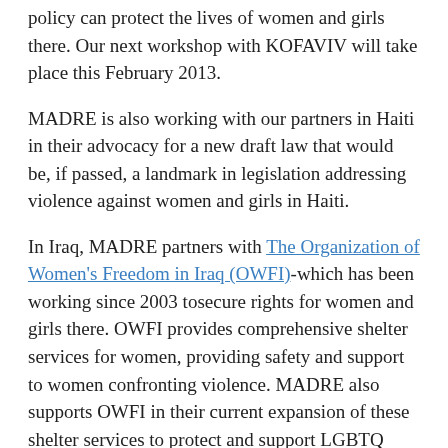policy can protect the lives of women and girls there. Our next workshop with KOFAVIV will take place this February 2013.
MADRE is also working with our partners in Haiti in their advocacy for a new draft law that would be, if passed, a landmark in legislation addressing violence against women and girls in Haiti.
In Iraq, MADRE partners with The Organization of Women's Freedom in Iraq (OWFI)-which has been working since 2003 tosecure rights for women and girls there. OWFI provides comprehensive shelter services for women, providing safety and support to women confronting violence. MADRE also supports OWFI in their current expansion of these shelter services to protect and support LGBTQ individuals in Iraq experiencing violence and discrimination.